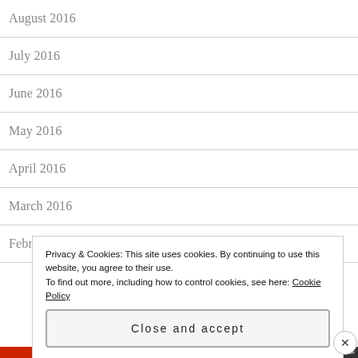August 2016
July 2016
June 2016
May 2016
April 2016
March 2016
February 2016
Privacy & Cookies: This site uses cookies. By continuing to use this website, you agree to their use.
To find out more, including how to control cookies, see here: Cookie Policy
Close and accept
HIPPOCTHESA